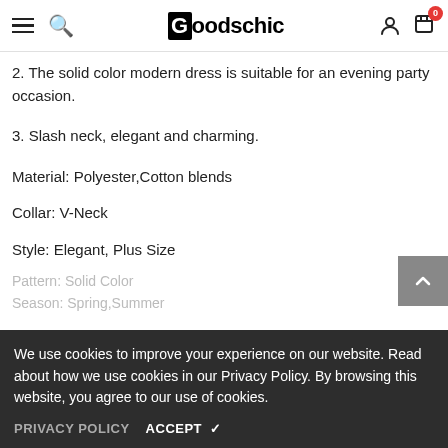Goodschic
2. The solid color modern dress is suitable for an evening party occasion.
3. Slash neck, elegant and charming.
Material: Polyester,Cotton blends
Collar: V-Neck
Style: Elegant, Plus Size
Pattern: Solid Color
Season: Spring,Summer
We use cookies to improve your experience on our website. Read about how we use cookies in our Privacy Policy. By browsing this website, you agree to our use of cookies.
PRIVACY POLICY   ACCEPT ✔